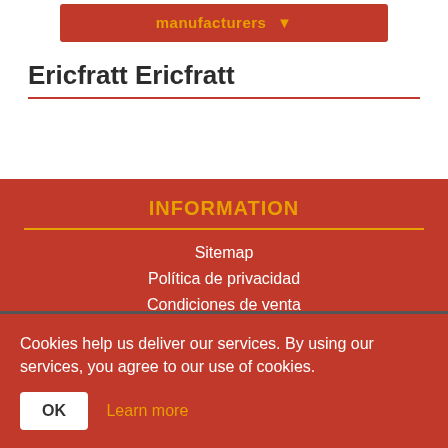manufacturers
Ericfratt Ericfratt
INFORMATION
Sitemap
Política de privacidad
Condiciones de venta
Contact us
Cookies help us deliver our services. By using our services, you agree to our use of cookies.
OK  Learn more